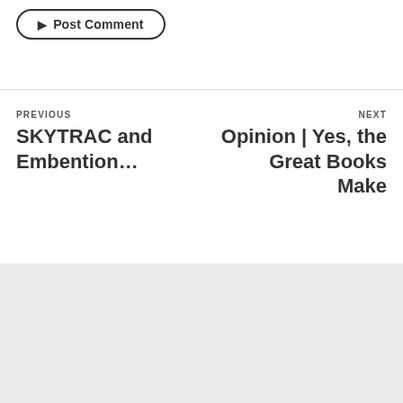Post Comment
PREVIOUS
SKYTRAC and Embention…
NEXT
Opinion | Yes, the Great Books Make